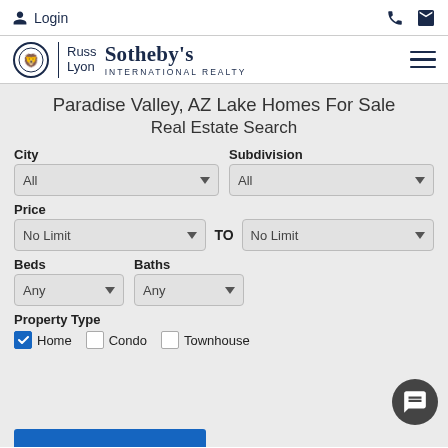Login
[Figure (logo): Russ Lyon Sotheby's International Realty logo with lion head emblem]
Paradise Valley, AZ Lake Homes For Sale
Real Estate Search
City dropdown: All | Subdivision dropdown: All
Price: No Limit TO No Limit
Beds: Any | Baths: Any
Property Type: Home (checked), Condo, Townhouse